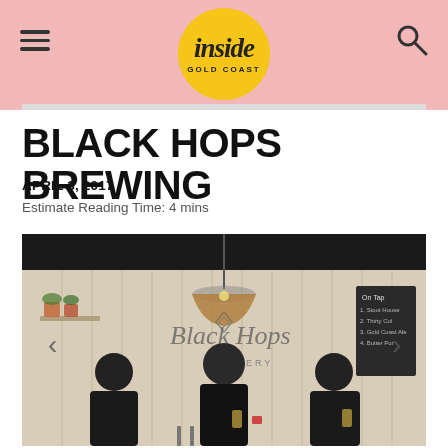inside GOLD COAST
BLACK HOPS BREWING
APRIL 3, 2017
Estimate Reading Time: 4 mins
[Figure (photo): Three bearded men in black t-shirts standing in front of a Black Hops Brewery branded wall with a pendant light, brewery taps, and a chalkboard menu visible on the right. Navigation arrows on left and right sides of the image.]